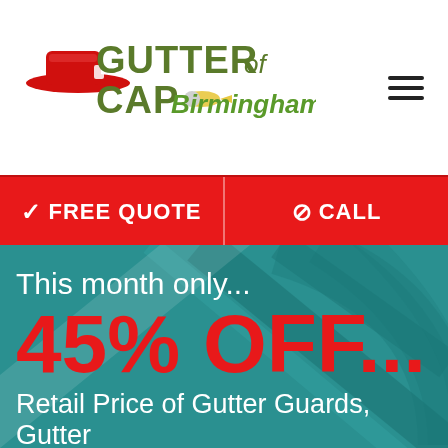[Figure (logo): Gutter Cap of Birmingham logo with red cap icon and stylized text]
FREE QUOTE
CALL
This month only...
45% OFF...
Retail Price of Gutter Guards, Gutter Covers, & Leaf Filters